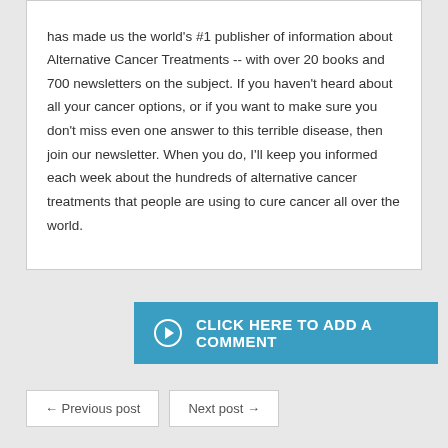has made us the world's #1 publisher of information about Alternative Cancer Treatments -- with over 20 books and 700 newsletters on the subject. If you haven't heard about all your cancer options, or if you want to make sure you don't miss even one answer to this terrible disease, then join our newsletter. When you do, I'll keep you informed each week about the hundreds of alternative cancer treatments that people are using to cure cancer all over the world.
CLICK HERE TO ADD A COMMENT
← Previous post
Next post →